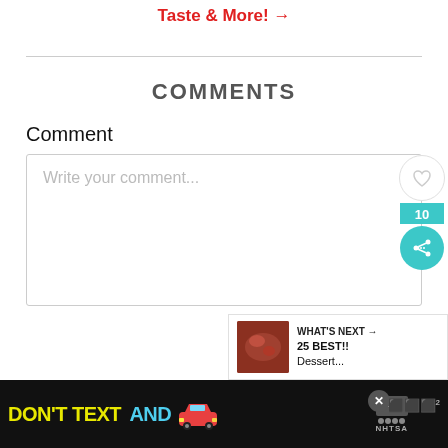Taste & More! →
COMMENTS
Comment
Write your comment...
[Figure (infographic): Heart/like button icon with share count of 10 and teal share button on right sidebar]
[Figure (infographic): WHAT'S NEXT → 25 BEST!! Dessert... promotional overlay with food image thumbnail]
[Figure (infographic): Ad banner: DON'T TEXT AND (car emoji) ad with NHTSA logo on black background]